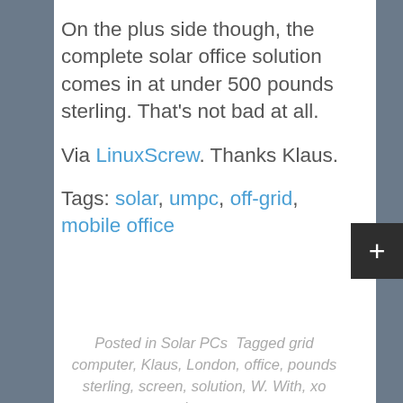On the plus side though, the complete solar office solution comes in at under 500 pounds sterling. That's not bad at all.
Via LinuxScrew. Thanks Klaus.
Tags: solar, umpc, off-grid, mobile office
Posted in Solar PCs  Tagged grid computer, Klaus, London, office, pounds sterling, screen, solution, W. With, xo laptop